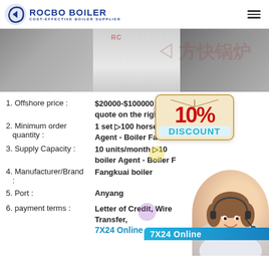ROCBO BOILER — COST-EFFECTIVE BOILER SUPPLIER
[Figure (photo): Industrial boiler units in a factory/warehouse setting, with Chinese watermark text]
1. Offshore price : $20000-$100000 Get a quote on the right form
2. Minimum order quantity : 1 set ▷100 horse power Agent - Boiler Factory
3. Supply Capacity : 10 units/month ▷10 boiler Agent - Boiler Factory
4. Manufacturer/Brand : Fangkuai boiler
5. Port : Anyang
6. payment terms : Letter of Credit, Wire Transfer, 7X24 Online